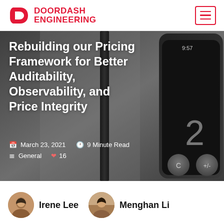[Figure (logo): DoorDash Engineering logo with red dash icon and red text]
[Figure (photo): Hero background photo showing a pencil and a smartphone calculator, dark/grey tones]
Rebuilding our Pricing Framework for Better Auditability, Observability, and Price Integrity
March 23, 2021    9 Minute Read    General    16
Irene Lee   Menghan Li